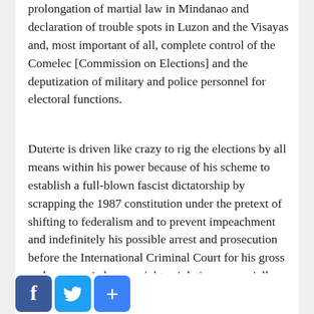prolongation of martial law in Mindanao and declaration of trouble spots in Luzon and the Visayas and, most important of all, complete control of the Comelec [Commission on Elections] and the deputization of military and police personnel for electoral functions.
Duterte is driven like crazy to rig the elections by all means within his power because of his scheme to establish a full-blown fascist dictatorship by scrapping the 1987 constitution under the pretext of shifting to federalism and to prevent impeachment and indefinitely his possible arrest and prosecution before the International Criminal Court for his gross and systematic human rights violations, especially the mass murder of suspects in his bogus war on drugs as well as in his war on the people's revolutionary movement.